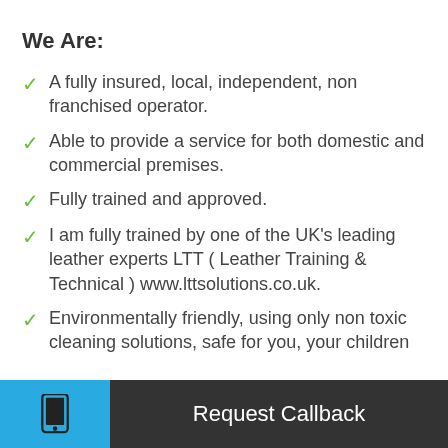We Are:
A fully insured, local, independent, non franchised operator.
Able to provide a service for both domestic and commercial premises.
Fully trained and approved.
I am fully trained by one of the UK's leading leather experts LTT ( Leather Training & Technical ) www.lttsolutions.co.uk.
Environmentally friendly, using only non toxic cleaning solutions, safe for you, your children
Request Callback